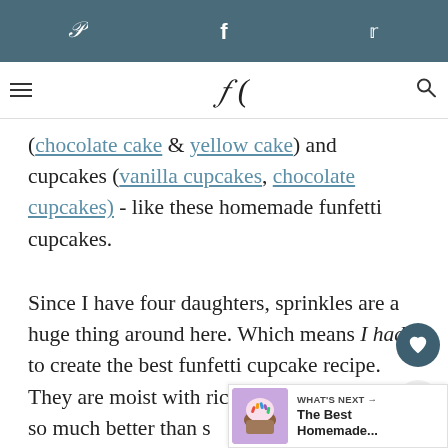Pinterest, Facebook, Twitter social share bar
(chocolate cake & yellow cake) and cupcakes (vanilla cupcakes, chocolate cupcakes) - like these homemade funfetti cupcakes.
Since I have four daughters, sprinkles are a huge thing around here. Which means I had to create the best funfetti cupcake recipe. They are moist with rich vanilla flavor and so much better than store-bought mixes. Best of all, they are made